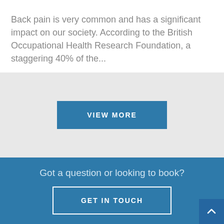Back pain is very common and has a significant impact on our society. According to the British Occupational Health Research Foundation, a staggering 40% of the...
VIEW MORE
Got a question or looking to book?
GET IN TOUCH